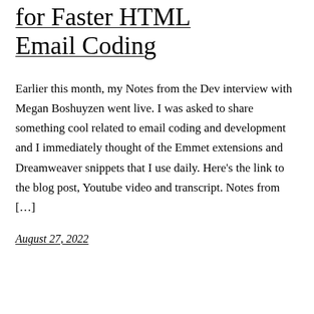for Faster HTML Email Coding
Earlier this month, my Notes from the Dev interview with Megan Boshuyzen went live. I was asked to share something cool related to email coding and development and I immediately thought of the Emmet extensions and Dreamweaver snippets that I use daily. Here's the link to the blog post, Youtube video and transcript. Notes from […]
August 27, 2022